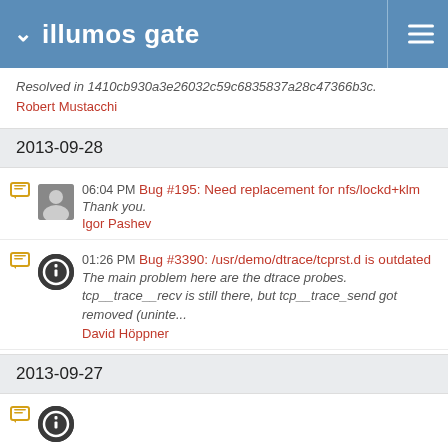illumos gate
Resolved in 1410cb930a3e26032c59c6835837a28c47366b3c.
Robert Mustacchi
2013-09-28
06:04 PM Bug #195: Need replacement for nfs/lockd+klm
Thank you.
Igor Pashev
01:26 PM Bug #3390: /usr/demo/dtrace/tcprst.d is outdated
The main problem here are the dtrace probes. tcp__trace__recv is still there, but tcp__trace_send got removed (uninte...
David Höppner
2013-09-27